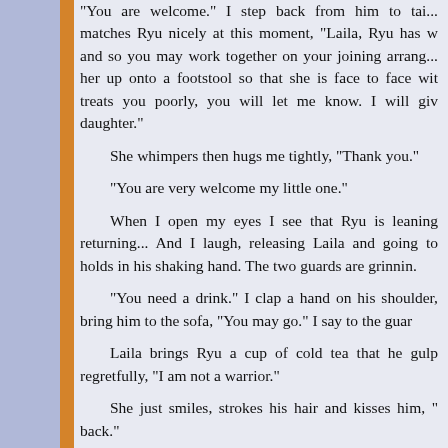"You are welcome." I step back from him to talk... matches Ryu nicely at this moment, "Laila, Ryu has w... and so you may work together on your joining arrang... her up onto a footstool so that she is face to face wit... treats you poorly, you will let me know. I will give... daughter."
She whimpers then hugs me tightly, "Thank you."
"You are very welcome my little one."
When I open my eyes I see that Ryu is leaning... returning... And I laugh, releasing Laila and going to... holds in his shaking hand. The two guards are grinnin...
"You need a drink." I clap a hand on his shoulder,... bring him to the sofa, "You may go." I say to the guar...
Laila brings Ryu a cup of cold tea that he gulp... regretfully, "I am not a warrior."
She just smiles, strokes his hair and kisses him, "... back."
"Are you angry?" He asks her.
"No. I am happy."